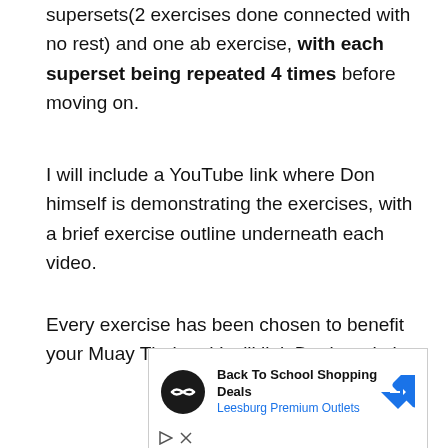supersets(2 exercises done connected with no rest) and one ab exercise, with each superset being repeated 4 times before moving on.
I will include a YouTube link where Don himself is demonstrating the exercises, with a brief exercise outline underneath each video.
Every exercise has been chosen to benefit your Muay Thai and I will link Don's website
[Figure (other): Advertisement banner: Back To School Shopping Deals - Leesburg Premium Outlets]